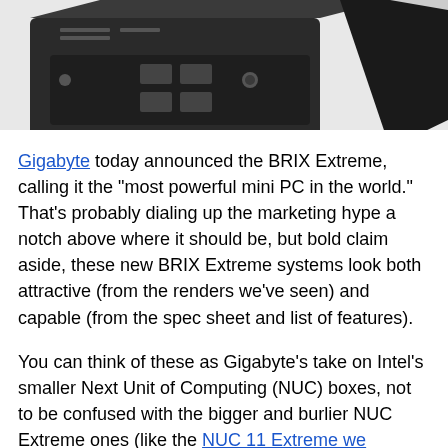[Figure (photo): Photo of a Gigabyte BRIX Extreme mini PC, a small black compact desktop computer showing USB ports and connectivity on the front panel, with another device partially visible in the upper right corner.]
Gigabyte today announced the BRIX Extreme, calling it the "most powerful mini PC in the world." That's probably dialing up the marketing hype a notch above where it should be, but bold claim aside, these new BRIX Extreme systems look both attractive (from the renders we've seen) and capable (from the spec sheet and list of features).
You can think of these as Gigabyte's take on Intel's smaller Next Unit of Computing (NUC) boxes, not to be confused with the bigger and burlier NUC Extreme ones (like the NUC 11 Extreme we reviewed). Those latter versions are in the small form factor (SFF) mold, with a modular design that supports adding a full-size graphics card to the system. That's not what these are.